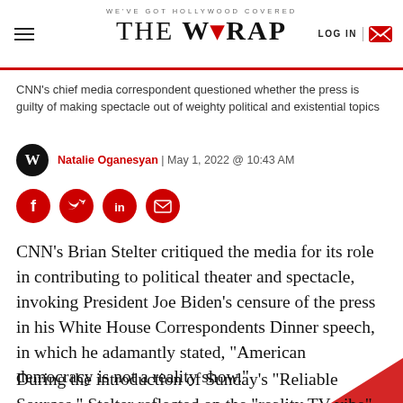WE'VE GOT HOLLYWOOD COVERED — THE WRAP | LOG IN
CNN's chief media correspondent questioned whether the press is guilty of making spectacle out of weighty political and existential topics
Natalie Oganesyan | May 1, 2022 @ 10:43 AM
[Figure (other): Social sharing buttons: Facebook, Twitter, LinkedIn, Email]
CNN's Brian Stelter critiqued the media for its role in contributing to political theater and spectacle, invoking President Joe Biden's censure of the press in his White House Correspondents Dinner speech, in which he adamantly stated, “American democracy is not a reality show.”
During the introduction of Sunday’s “Reliable Sources,” Stelter reflected on the “reality TV vibe” of